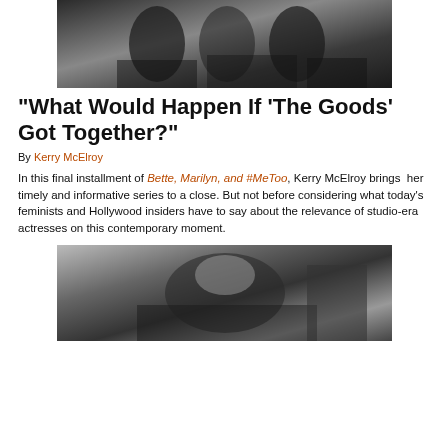[Figure (photo): Black and white photograph of people, top of page]
“What Would Happen If ‘The Goods’ Got Together?”
By Kerry McElroy
In this final installment of Bette, Marilyn, and #MeToo, Kerry McElroy brings her timely and informative series to a close. But not before considering what today’s feminists and Hollywood insiders have to say about the relevance of studio-era actresses on this contemporary moment.
[Figure (photo): Black and white photograph, bottom of page, woman in distress scene]